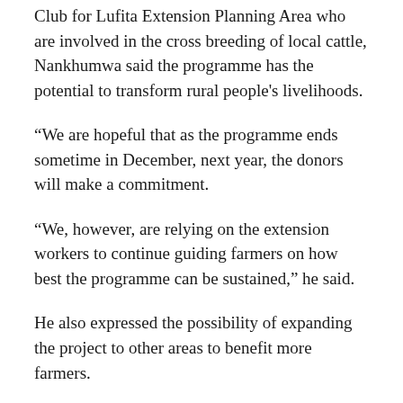Club for Lufita Extension Planning Area who are involved in the cross breeding of local cattle, Nankhumwa said the programme has the potential to transform rural people's livelihoods.
“We are hopeful that as the programme ends sometime in December, next year, the donors will make a commitment.
“We, however, are relying on the extension workers to continue guiding farmers on how best the programme can be sustained,” he said.
He also expressed the possibility of expanding the project to other areas to benefit more farmers.
A total of 3,000 smallholder farmers are expected to benefit from the programme.
The farmers are drilled in animal heat detection and crossing